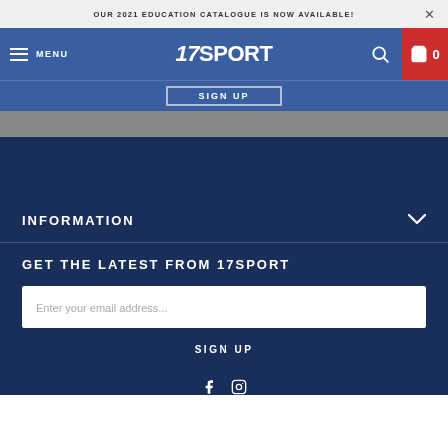OUR 2021 EDUCATION CATALOGUE IS NOW AVAILABLE!
17SPORT MENU 0
SIGN UP
INFORMATION
GET THE LATEST FROM 17SPORT
Enter your email address...
SIGN UP